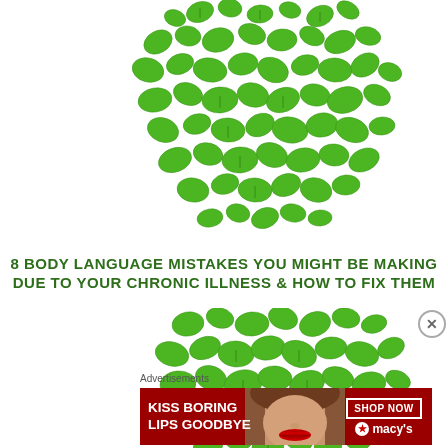[Figure (illustration): Green leaves scattered in a silhouette pattern forming the upper half of a human figure/head shape, on white background]
8 BODY LANGUAGE MISTAKES YOU MIGHT BE MAKING DUE TO YOUR CHRONIC ILLNESS  & HOW TO FIX THEM
[Figure (illustration): Green leaves scattered in a silhouette pattern forming the lower half of a human figure shape, on white background]
Advertisements
[Figure (infographic): Advertisement banner: red background, text 'KISS BORING LIPS GOODBYE', woman face with red lips in center, 'SHOP NOW' button and Macys star logo on right]